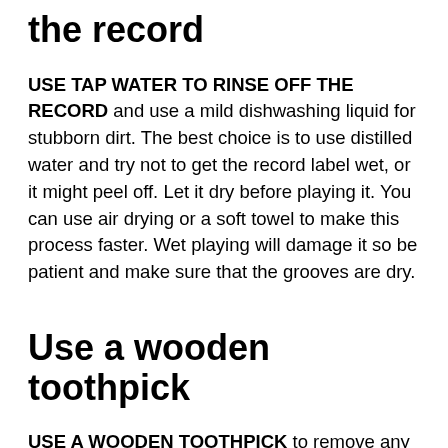the record
USE TAP WATER TO RINSE OFF THE RECORD and use a mild dishwashing liquid for stubborn dirt. The best choice is to use distilled water and try not to get the record label wet, or it might peel off. Let it dry before playing it. You can use air drying or a soft towel to make this process faster. Wet playing will damage it so be patient and make sure that the grooves are dry.
Use a wooden toothpick
USE A WOODEN TOOTHPICK to remove any dirt particles remaining in the groove. Push the dust out of the grooves carefully with a toothpick and a magnifying glass.